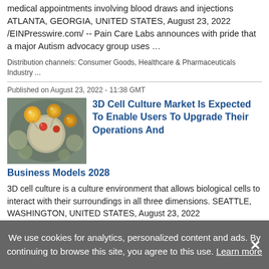medical appointments involving blood draws and injections ATLANTA, GEORGIA, UNITED STATES, August 23, 2022 /EINPresswire.com/ -- Pain Care Labs announces with pride that a major Autism advocacy group uses …
Distribution channels: Consumer Goods, Healthcare & Pharmaceuticals Industry ...
Published on August 23, 2022 - 11:38 GMT
3D Cell Culture Market Is Expected To Enable Users To Upgrade Their Operations And Business Models 2028
[Figure (photo): Microscopic image of 3D cell culture showing yellow and orange spherical cells on gray background]
3D cell culture is a culture environment that allows biological cells to interact with their surroundings in all three dimensions. SEATTLE, WASHINGTON, UNITED STATES, August 23, 2022 /EINPresswire.com/ -- Coherent Market Insights has announced ...
Distribution channels: Healthcare & Pharmaceuticals Industry ...
Published on August 23, 2022 - 11:34 GMT
We use cookies for analytics, personalized content and ads. By continuing to browse this site, you agree to this use. Learn more